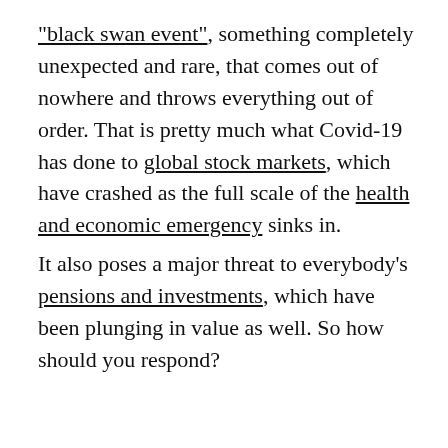"black swan event", something completely unexpected and rare, that comes out of nowhere and throws everything out of order. That is pretty much what Covid-19 has done to global stock markets, which have crashed as the full scale of the health and economic emergency sinks in.
It also poses a major threat to everybody's pensions and investments, which have been plunging in value as well. So how should you respond?